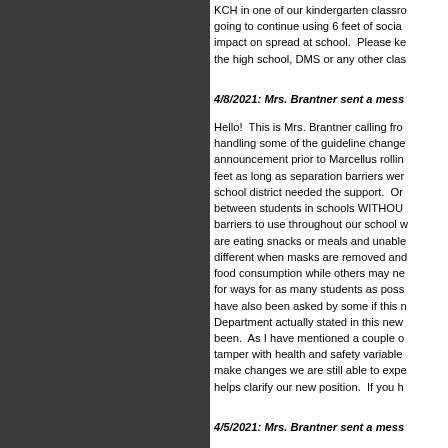KCH in one of our kindergarten classrooms going to continue using 6 feet of social impact on spread at school. Please ke the high school, DMS or any other cla
4/8/2021: Mrs. Brantner sent a mess
Hello! This is Mrs. Brantner calling fro handling some of the guideline change announcement prior to Marcellus rollin feet as long as separation barriers we school district needed the support. On between students in schools WITHOU barriers to use throughout our school are eating snacks or meals and unabl different when masks are removed and food consumption while others may ne for ways for as many students as poss have also been asked by some if this Department actually stated in this new been. As I have mentioned a couple o tamper with health and safety variable make changes we are still able to expe helps clarify our new position. If you h
4/5/2021: Mrs. Brantner sent a mess